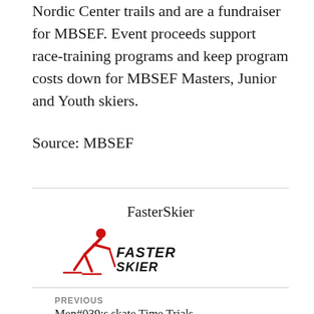Nordic Center trails and are a fundraiser for MBSEF. Event proceeds support race-training programs and keep program costs down for MBSEF Masters, Junior and Youth skiers.
Source: MBSEF
FasterSkier
[Figure (logo): FasterSkier logo with skier figure in red and stylized text 'FasterSkier']
PREVIOUS
Men#039;s skate Time Trials